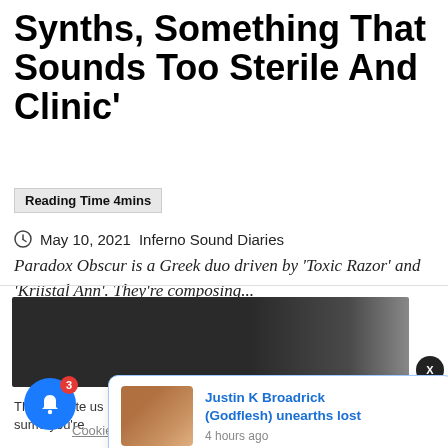Synths, Something That Sounds Too Sterile And Clinic'
Reading Time 4mins
May 10, 2021  Inferno Sound Diaries
Paradox Obscur is a Greek duo driven by 'Toxic Razor' and 'Kriistal Ann'. They're composing...
[Figure (photo): Dark atmospheric image, mostly dark grey tones with subtle smoke or mist visible on the right side]
This website us...
Cookie settings
ACCEPT
[Figure (infographic): Notification popup card showing: 'Justin K Broadrick (Godflesh) unearths lost' with thumbnail image, 4 hours ago. Blue bell notification button with badge showing 3. Close button X.]